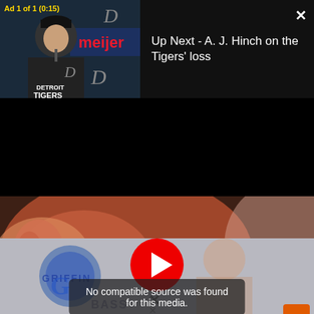[Figure (screenshot): Video thumbnail showing Detroit Tigers manager at press conference with meijer banner. Ad label 'Ad 1 of 1 (0:15)' in yellow top left. Black panel on right shows 'Up Next - A. J. Hinch on the Tigers' loss' in white text with X close button.]
[Figure (screenshot): Main video player showing close-up blurry image of a person's face/ear. YouTube-style red play button in center. Error message overlay: 'No compatible source was found for this media.' with X dismiss below. Orange button bottom right.]
[Figure (screenshot): Bottom advertisement banner with Griffin branding and partial person image, partially visible.]